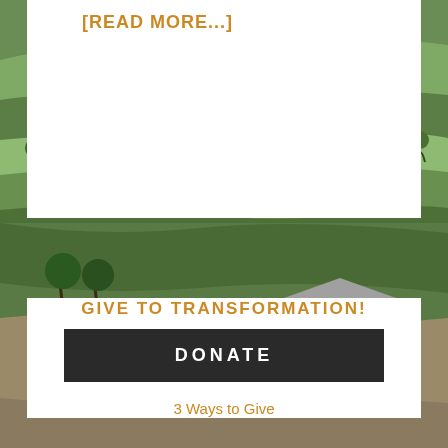[Figure (photo): Aerial/landscape view of green terraced hillside with trees and vegetation]
[READ MORE...]
[Figure (photo): Village scene with a crowd of people gathered outdoors near a structure, green landscape]
GIVE TO TRANSFORMATION!
DONATE
3 Ways to Give